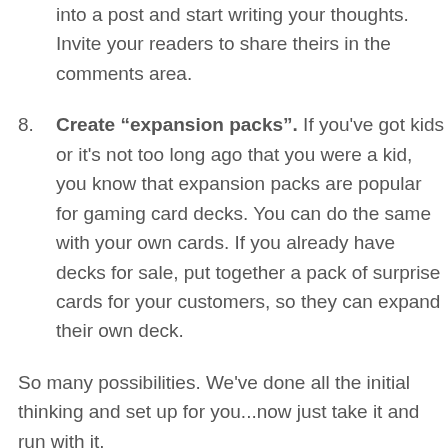into a post and start writing your thoughts. Invite your readers to share theirs in the comments area.
Create “expansion packs”. If you've got kids or it's not too long ago that you were a kid, you know that expansion packs are popular for gaming card decks. You can do the same with your own cards. If you already have decks for sale, put together a pack of surprise cards for your customers, so they can expand their own deck.
So many possibilities. We've done all the initial thinking and set up for you...now just take it and run with it.